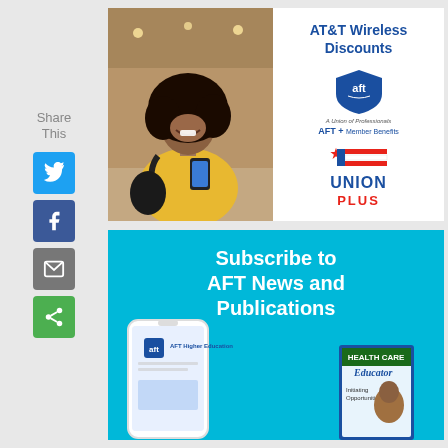[Figure (infographic): AT&T Wireless Discounts advertisement banner with photo of smiling woman in yellow sweater using phone, AFT+ member benefits logo, and Union Plus logo]
[Figure (infographic): Subscribe to AFT News and Publications advertisement banner on cyan/blue background with smartphone and magazine mockups]
Share This
[Figure (other): Twitter share button (blue bird icon)]
[Figure (other): Facebook share button (blue f icon)]
[Figure (other): Email share button (grey envelope icon)]
[Figure (other): Share button (green share icon)]